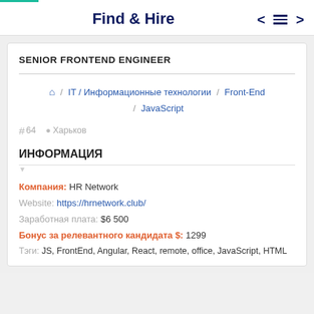Find & Hire
SENIOR FRONTEND ENGINEER
🏠 / IT / Информационные технологии / Front-End / JavaScript
# 64  Харьков
ИНФОРМАЦИЯ
Компания: HR Network
Website: https://hrnetwork.club/
Заработная плата: $6 500
Бонус за релевантного кандидата $: 1299
Тэги: JS, FrontEnd, Angular, React, remote, office, JavaScript, HTML